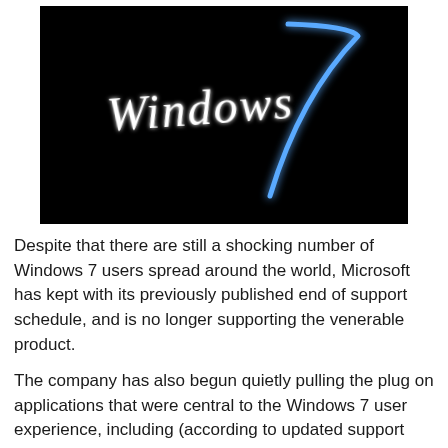[Figure (screenshot): Windows 7 logo on a black background. The word 'Windows' is written in a glowing white handwritten-style font, and a large glowing blue '7' is displayed to the right.]
Despite that there are still a shocking number of Windows 7 users spread around the world, Microsoft has kept with its previously published end of support schedule, and is no longer supporting the venerable product.
The company has also begun quietly pulling the plug on applications that were central to the Windows 7 user experience, including (according to updated support documents) Windows Media Player and the